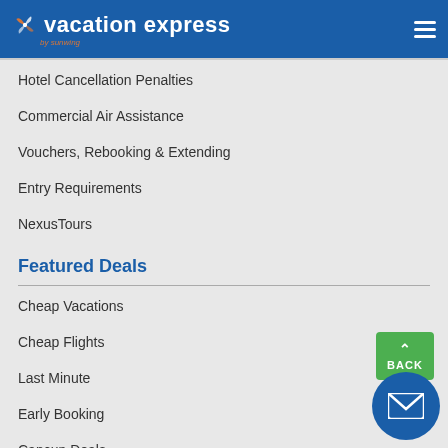vacation express by sunwing
Hotel Cancellation Penalties
Commercial Air Assistance
Vouchers, Rebooking & Extending
Entry Requirements
NexusTours
Featured Deals
Cheap Vacations
Cheap Flights
Last Minute
Early Booking
Cancun Deals